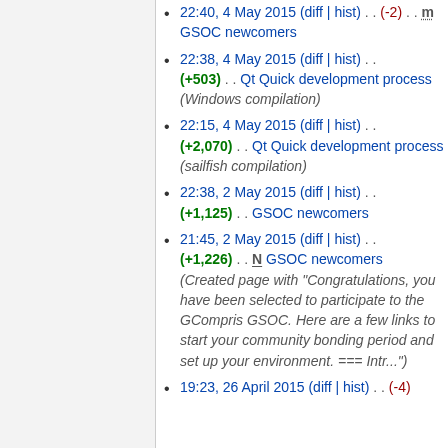22:40, 4 May 2015 (diff | hist) . . (-2) . . m GSOC newcomers
22:38, 4 May 2015 (diff | hist) . . (+503) . . Qt Quick development process (Windows compilation)
22:15, 4 May 2015 (diff | hist) . . (+2,070) . . Qt Quick development process (sailfish compilation)
22:38, 2 May 2015 (diff | hist) . . (+1,125) . . GSOC newcomers
21:45, 2 May 2015 (diff | hist) . . (+1,226) . . N GSOC newcomers (Created page with "Congratulations, you have been selected to participate to the GCompris GSOC. Here are a few links to start your community bonding period and set up your environment. === Intr...")
19:23, 26 April 2015 (diff | hist) . . (-4)